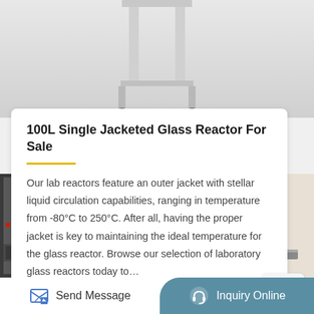[Figure (photo): Top portion of a glass reactor with metal stand/legs and casters, shown in gray/white tones against light background]
100L Single Jacketed Glass Reactor For Sale
Our lab reactors feature an outer jacket with stellar liquid circulation capabilities, ranging in temperature from -80°C to 250°C. After all, having the proper jacket is key to maintaining the ideal temperature for the glass reactor. Browse our selection of laboratory glass reactors today to…
[Figure (photo): Close-up photo of laboratory equipment components, showing cables and metal parts of a glass reactor setup]
Send Message
Inquiry Online